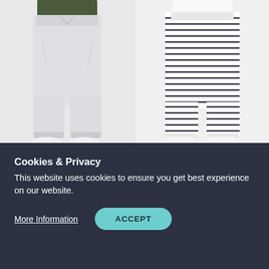[Figure (photo): Left product: model wearing white/light grey jogger pants (Cle Aybrey Jogger), cropped view showing lower body and white sneakers, on light grey background]
[Figure (photo): Right product: model wearing white and navy striped jogger pants (Cle Aybrey Jogger), cropped view showing lower body and white sneakers, on white background]
Cle Aybrey Jogger
Cle Aybrey Jogger
RRP $69.95
NOW $20.00
NOW $27.50
Cookies & Privacy
This website uses cookies to ensure you get best experience on our website.
More Information
ACCEPT